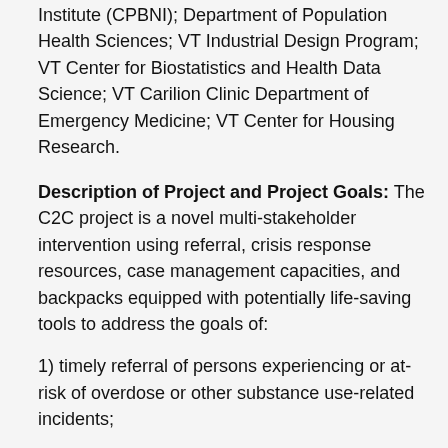Institute (CPBNI); Department of Population Health Sciences; VT Industrial Design Program; VT Center for Biostatistics and Health Data Science; VT Carilion Clinic Department of Emergency Medicine; VT Center for Housing Research.
Description of Project and Project Goals: The C2C project is a novel multi-stakeholder intervention using referral, crisis response resources, case management capacities, and backpacks equipped with potentially life-saving tools to address the goals of:
1) timely referral of persons experiencing or at-risk of overdose or other substance use-related incidents;
2) reduction in overdose and relapse; and
3) connecting consumers to appropriate harm reduction, treatment and recovery programs.